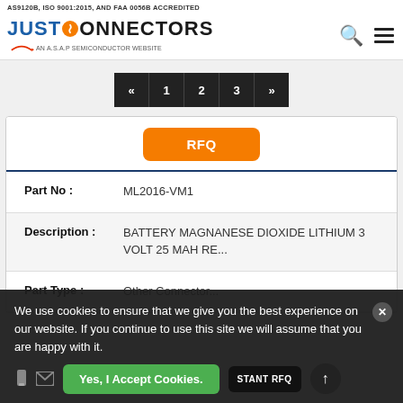AS9120B, ISO 9001:2015, AND FAA 0056B ACCREDITED
[Figure (logo): Just Connectors logo - AN A.S.A.P SEMICONDUCTOR WEBSITE]
« 1 2 3 »
| Part No : | ML2016-VM1 |
| Description : | BATTERY MAGNANESE DIOXIDE LITHIUM 3 VOLT 25 MAH RE... |
| Part Type : | Other Connector... |
We use cookies to ensure that we give you the best experience on our website. If you continue to use this site we will assume that you are happy with it.
Yes, I Accept Cookies.